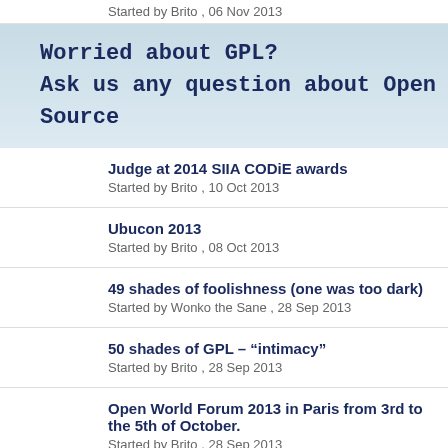Started by Brito , 06 Nov 2013
[Figure (screenshot): Banner with text 'Worried about GPL? Ask us any question about Open Source' on a light blue gradient background, in bold monospace font]
Judge at 2014 SIIA CODiE awards
Started by Brito , 10 Oct 2013
Ubucon 2013
Started by Brito , 08 Oct 2013
49 shades of foolishness (one was too dark)
Started by Wonko the Sane , 28 Sep 2013
50 shades of GPL – “intimacy”
Started by Brito , 28 Sep 2013
Open World Forum 2013 in Paris from 3rd to the 5th of October.
Started by Brito , 28 Sep 2013
LinuxCon Europe